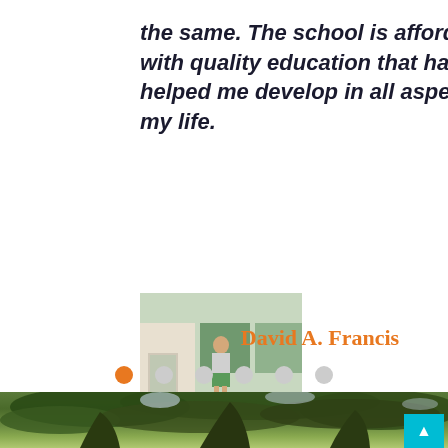the same. The school is affordable with quality education that have helped me develop in all aspectss of my life.
[Figure (photo): Small portrait photo of David A. Francis, a person standing outdoors near a building]
David A. Francis
[Figure (infographic): Navigation dots: 6 circles, first one highlighted in orange, rest gray]
[Figure (photo): Photo of large tree canopy with branches spread wide, outdoor setting with buildings visible below]